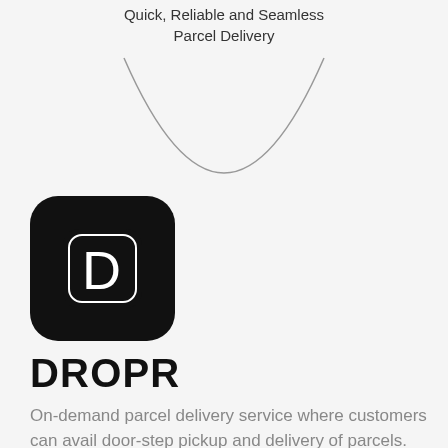Quick, Reliable and Seamless Parcel Delivery
[Figure (illustration): Bottom half of a circle arc in gray]
[Figure (logo): DROPR app icon - black rounded square with white D letter outline]
DROPR
On-demand parcel delivery service where customers can avail door-step pickup and delivery of parcels.
[Figure (illustration): Four technology icons: Laravel, Vue.js, Swift, and a chat/support icon]